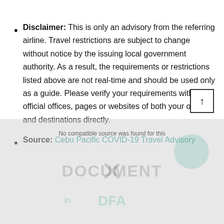Disclaimer: This is only an advisory from the referring airline. Travel restrictions are subject to change without notice by the issuing local government authority. As a result, the requirements or restrictions listed above are not real-time and should be used only as a guide. Please verify your requirements with the official offices, pages or websites of both your origin and destinations directly.
Source: Cebu Pacific COVID-19 Travel Advisory